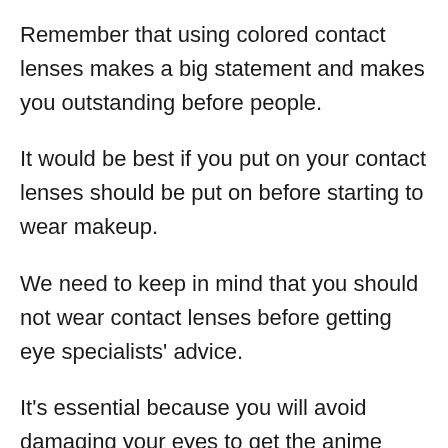Remember that using colored contact lenses makes a big statement and makes you outstanding before people.
It would be best if you put on your contact lenses should be put on before starting to wear makeup.
We need to keep in mind that you should not wear contact lenses before getting eye specialists' advice.
It's essential because you will avoid damaging your eyes to get the anime eye.